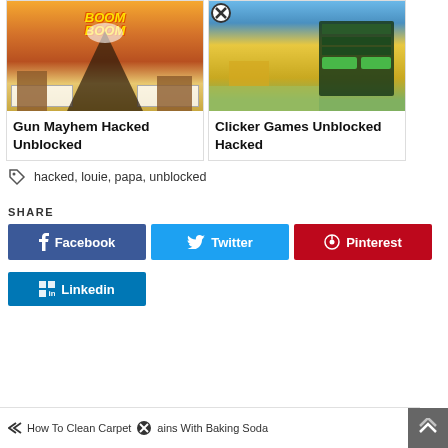[Figure (screenshot): Gun Mayhem Hacked Unblocked game screenshot showing cartoon explosion with BOOM BOOM text]
Gun Mayhem Hacked Unblocked
[Figure (screenshot): Clicker Games Unblocked Hacked game screenshot showing pixel-art game with UI panels]
Clicker Games Unblocked Hacked
hacked, louie, papa, unblocked
SHARE
Facebook
Twitter
Pinterest
Linkedin
How To Clean Carpet Stains With Baking Soda